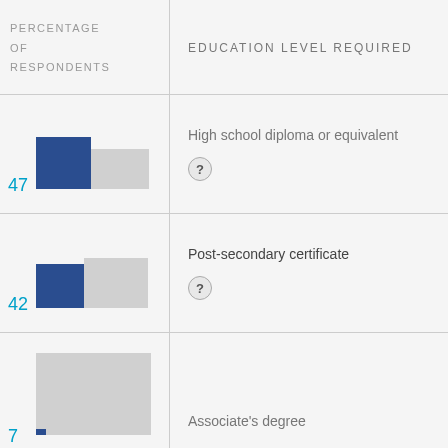PERCENTAGE OF RESPONDENTS
EDUCATION LEVEL REQUIRED
[Figure (bar-chart): ]
High school diploma or equivalent
[Figure (bar-chart): ]
Post-secondary certificate
[Figure (bar-chart): ]
Associate's degree